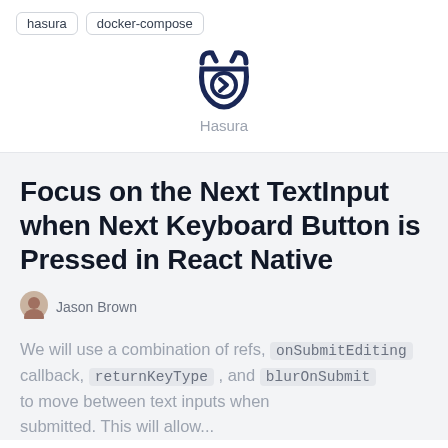hasura
docker-compose
[Figure (logo): Hasura logo — dark navy horned face icon with a circle containing a right-pointing chevron, with the label 'Hasura' below]
Focus on the Next TextInput when Next Keyboard Button is Pressed in React Native
Jason Brown
We will use a combination of refs, onSubmitEditing callback, returnKeyType , and blurOnSubmit to move between text inputs when submitted. This will allow...